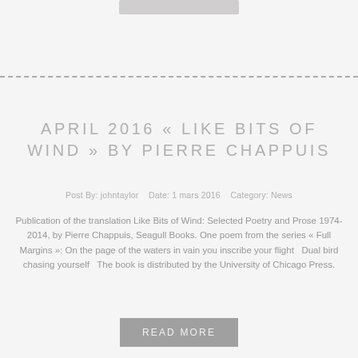[Figure (other): Gray rectangular image placeholder bar at the top center of the page]
APRIL 2016 « LIKE BITS OF WIND » BY PIERRE CHAPPUIS
Post By: johntaylor   Date: 1 mars 2016   Category: News
Publication of the translation Like Bits of Wind: Selected Poetry and Prose 1974-2014, by Pierre Chappuis, Seagull Books. One poem from the series « Full Margins »: On the page of the waters in vain you inscribe your flight   Dual bird chasing yourself   The book is distributed by the University of Chicago Press.
Read More